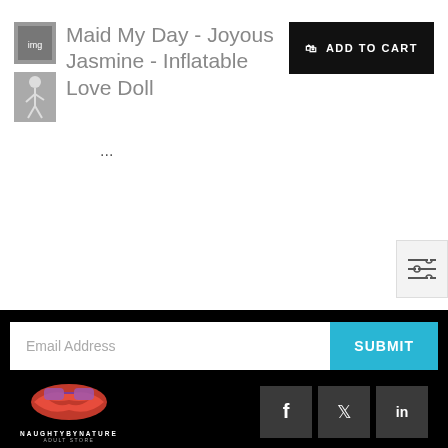Maid My Day - Joyous Jasmine - Inflatable Love Doll
...
[Figure (screenshot): Email newsletter signup bar with Email Address input field and SUBMIT button]
[Figure (logo): NaughtyByNature Adult Store logo with lips graphic and social media icons for Facebook, Twitter, LinkedIn]
[Figure (infographic): Payment method logos: Klarna, AMEX, Apple Pay, Google Pay, Mastercard, PayPal, VISA, Open Pay, Zip, Laybuy, Afterpay, chain/link icon]
Copyright © 2022, Naughty By Nature Adult Store. All Rights Reserved.
Earn Rewards